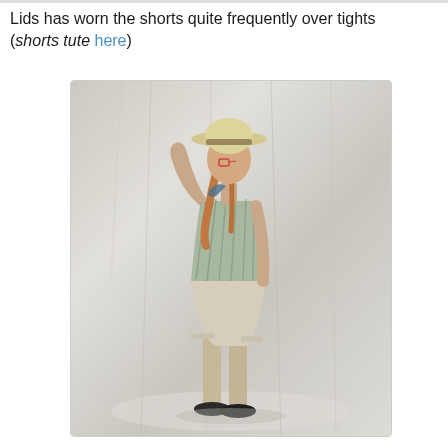Lids has worn the shorts quite frequently over tights (shorts tute here)
[Figure (photo): A child standing with back mostly to camera, wearing a wide-brimmed straw hat, glasses, a striped sleeveless top, beige shorts, and black shoes. One hand is raised against a white draped fabric background.]